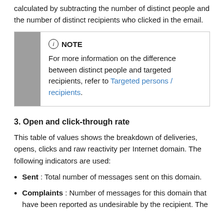calculated by subtracting the number of distinct people and the number of distinct recipients who clicked in the email.
NOTE
For more information on the difference between distinct people and targeted recipients, refer to Targeted persons / recipients.
3. Open and click-through rate
This table of values shows the breakdown of deliveries, opens, clicks and raw reactivity per Internet domain. The following indicators are used:
Sent : Total number of messages sent on this domain.
Complaints : Number of messages for this domain that have been reported as undesirable by the recipient. The